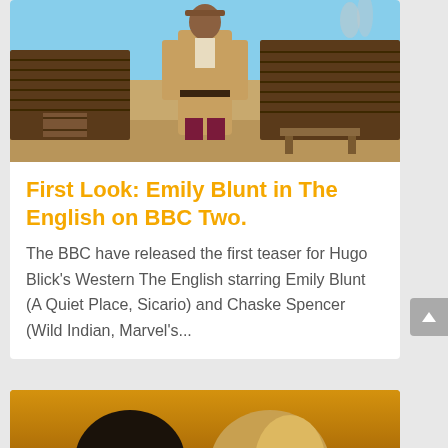[Figure (photo): A person in a long tan/beige coat with dark maroon trousers standing outdoors in a western setting with a wooden log cabin structure in the background, dusty ground, and wooden barrels visible.]
First Look: Emily Blunt in The English on BBC Two.
The BBC have released the first teaser for Hugo Blick's Western The English starring Emily Blunt (A Quiet Place, Sicario) and Chaske Spencer (Wild Indian, Marvel's...
[Figure (photo): Two people shown from behind/side against a golden/amber background - one with dark hair and one with lighter blonde/brown hair.]